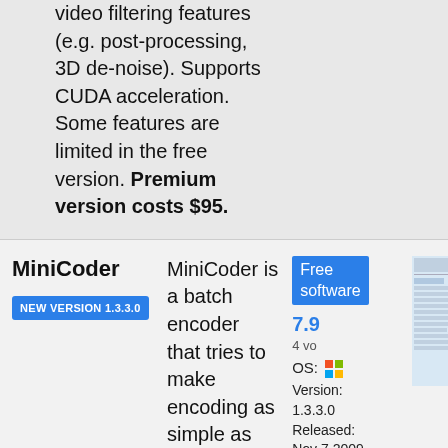video filtering features (e.g. post-processing, 3D de-noise). Supports CUDA acceleration. Some features are limited in the free version. Premium version costs $95.
MiniCoder
NEW VERSION 1.3.3.0
MiniCoder is a batch encoder that tries to make encoding as simple as possible. It automaticly encodes all audio tracks, checks for sub tracks and if supported by the container if fetches: Attachments and Chapters and puts them back into the output. Convert MKV,
Free software
7.9
4 vo
OS: [Windows] Version: 1.3.3.0 Released: Nov 7,2009 File size: 1.1MB Download